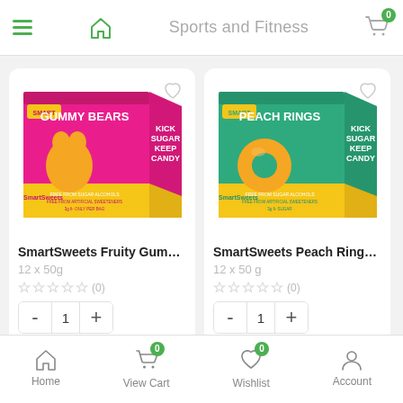Sports and Fitness
[Figure (screenshot): SmartSweets Fruity Gummy Bears product box — bright pink box with yellow gummy bear graphic and text 'KICK SUGAR KEEP CANDY', 'GUMMY BEARS', 'SmartSweets']
SmartSweets Fruity Gummy Be...
12 x 50g
★ ★ ★ ★ ★ (0)
[Figure (screenshot): SmartSweets Peach Rings product box — green box with yellow peach ring graphic and text 'KICK SUGAR KEEP CANDY', 'PEACH RINGS', 'SmartSweets']
SmartSweets Peach Rings Bulk...
12 x 50 g
★ ★ ★ ★ ★ (0)
Home   View Cart   Wishlist   Account